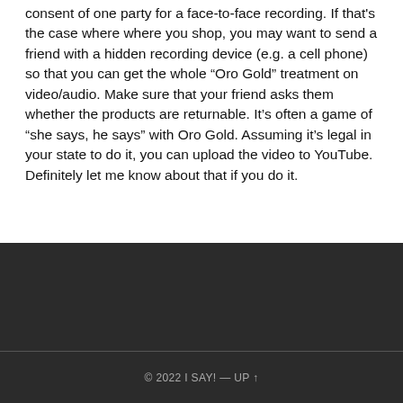consent of one party for a face-to-face recording. If that's the case where where you shop, you may want to send a friend with a hidden recording device (e.g. a cell phone) so that you can get the whole “Oro Gold” treatment on video/audio. Make sure that your friend asks them whether the products are returnable. It’s often a game of “she says, he says” with Oro Gold. Assuming it’s legal in your state to do it, you can upload the video to YouTube. Definitely let me know about that if you do it.
© 2022 I SAY! — UP ↑